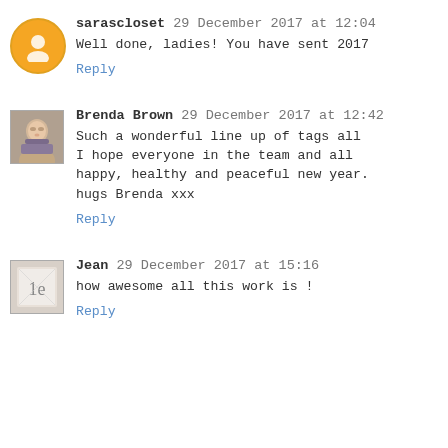sarascloset 29 December 2017 at 12:04
Well done, ladies! You have sent 2017
Reply
Brenda Brown 29 December 2017 at 12:42
Such a wonderful line up of tags all
I hope everyone in the team and all
happy, healthy and peaceful new year.
hugs Brenda xxx
Reply
Jean 29 December 2017 at 15:16
how awesome all this work is !
Reply